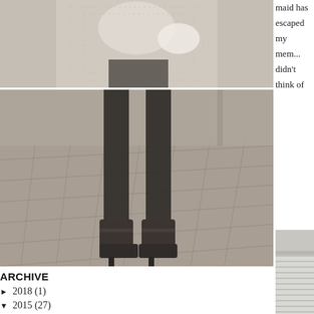[Figure (photo): Fashion photo showing upper body of person wearing lace/knit wrap top with dark pants, outdoor setting]
[Figure (photo): Fashion photo showing legs and ankle boots of person standing on tiled pavement outdoors]
maid has escaped my mem... didn't think of this pairing o... wath out for the super sunn...
ARCHIVE
► 2018 (1)
▼ 2015 (27)
October (1)
September (2)
August (5)
July (3)
June (4)
May (4)
March (5)
January (3)
► 2014 (100)
[Figure (photo): Close-up photo of weathered building detail showing cracked white/grey wall above white corrugated metal or louvered panel]